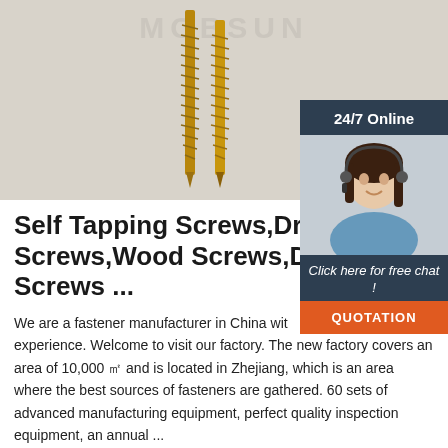[Figure (photo): Close-up photo of two gold/bronze colored self-tapping screws on a light background, with a watermark reading 'MOBSUN' in the upper portion of the image.]
Self Tapping Screws,Drywall Screws,Wood Screws,Decking Screws ...
We are a fastener manufacturer in China with years of production experience. Welcome to visit our factory. The new factory covers an area of 10,000 ㎡ and is located in Zhejiang, which is an area where the best sources of fasteners are gathered. 60 sets of advanced manufacturing equipment, perfect quality inspection equipment, an annual ...